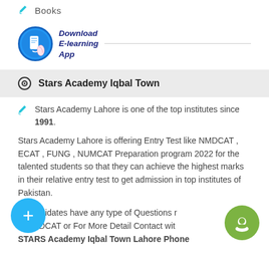Books
[Figure (logo): Download E-learning App icon with phone graphic in blue circle, italic blue text and horizontal line]
Stars Academy Iqbal Town
Stars Academy Lahore is one of the top institutes since 1991.
Stars Academy Lahore is offering Entry Test like NMDCAT , ECAT , FUNG , NUMCAT Preparation program 2022 for the talented students so that they can achieve the highest marks in their relative entry test to get admission in top institutes of Pakistan.
If Candidates have any type of Questions related to LMDCAT or For More Detail Contact with STARS Academy Iqbal Town Lahore Phone